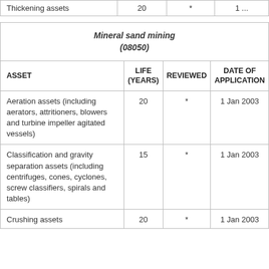| ASSET | LIFE (YEARS) | REVIEWED | DATE OF APPLICATION |
| --- | --- | --- | --- |
| Thickening assets | 20 | * | 1 ... |
| ASSET | LIFE (YEARS) | REVIEWED | DATE OF APPLICATION |
| --- | --- | --- | --- |
| Mineral sand mining (08050) |  |  |  |
| Aeration assets (including aerators, attritioners, blowers and turbine impeller agitated vessels) | 20 | * | 1 Jan 2003 |
| Classification and gravity separation assets (including centrifuges, cones, cyclones, screw classifiers, spirals and tables) | 15 | * | 1 Jan 2003 |
| Crushing assets ... | 20 | * | 1 Jan 2003 |